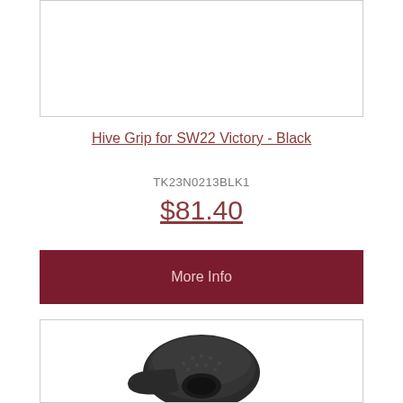[Figure (photo): Top portion of a product image (cropped, white background), partial view of an item in a bordered box]
Hive Grip for SW22 Victory - Black
TK23N0213BLK1
$81.40
More Info
[Figure (photo): Black gun grip accessory (Hive Grip for SW22 Victory) shown from an angle, dark charcoal color with textured surface and a circular mounting hole visible]